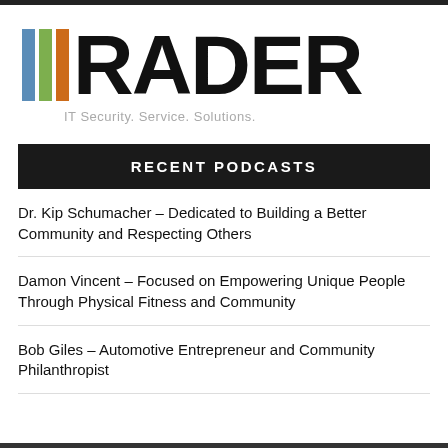[Figure (logo): RADER logo with three vertical color bars (blue, green, orange) followed by large bold text RADER and tagline IT Security. Service. Solutions.]
RECENT PODCASTS
Dr. Kip Schumacher – Dedicated to Building a Better Community and Respecting Others
Damon Vincent – Focused on Empowering Unique People Through Physical Fitness and Community
Bob Giles – Automotive Entrepreneur and Community Philanthropist